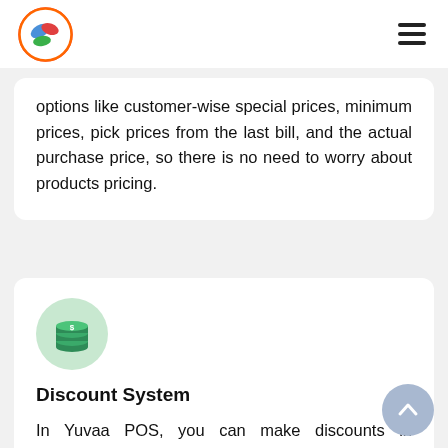Yuvaa POS — navigation header with logo and hamburger menu
options like customer-wise special prices, minimum prices, pick prices from the last bill, and the actual purchase price, so there is no need to worry about products pricing.
[Figure (illustration): Green circle icon with stack of coins (database/money icon)]
Discount System
In Yuvaa POS, you can make discounts in percentage/amount, and manage bill-wise,